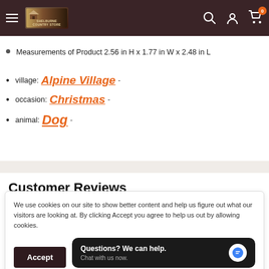Shelburne Country Store navigation bar with logo, search, account, and cart (0 items)
Measurements of Product 2.56 in H x 1.77 in W x 2.48 in L
village: Alpine Village -
occasion: Christmas -
animal: Dog -
Customer Reviews
We use cookies on our site to show better content and help us figure out what our visitors are looking at. By clicking Accept you agree to help us out by allowing cookies.
Accept | Questions? We can help. Chat with us now.